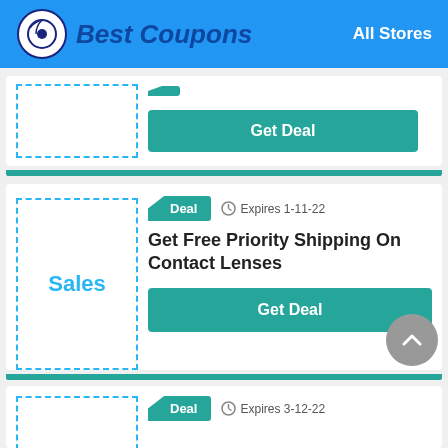Best Coupons | All Stores
[Figure (screenshot): Partial coupon card with Get Deal button (top of page, cut off)]
Deal  Expires 1-11-22
Get Free Priority Shipping On Contact Lenses
Get Deal
Deal  Expires 3-12-22